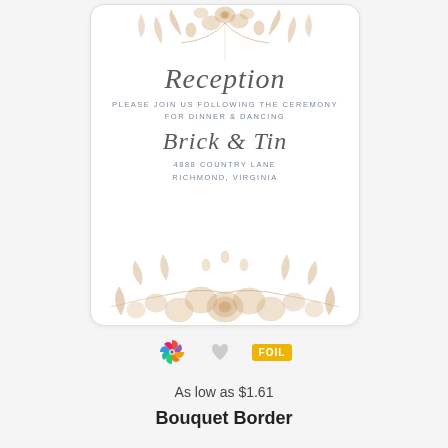[Figure (illustration): Wedding reception card with floral bouquet border (golden/brown tone) at top and bottom, script text reading 'Reception', small caps text, script venue name 'Brick & Tin', and address details]
[Figure (infographic): Row of icons: colorful pinwheel/color-wheel icon, gray heart icon, gold FOIL badge]
As low as $1.61
Bouquet Border